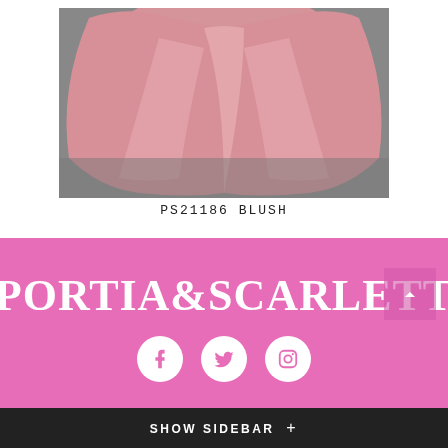[Figure (photo): Bottom portion of a blush pink formal/prom gown with a flowing train, photographed on a grey floor against a white background]
PS21186 BLUSH
[Figure (logo): Portia & Scarlett brand logo in white serif text on pink background with social media icons (Facebook, Twitter, Instagram) below]
SHOW SIDEBAR +